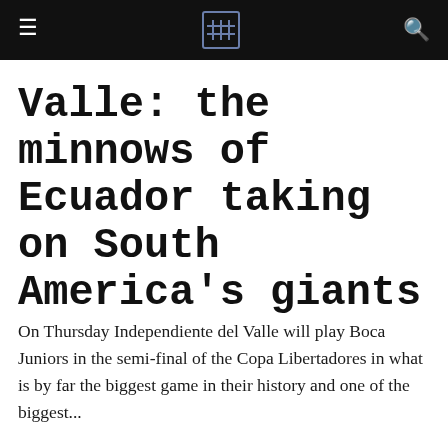[Navigation bar with menu icon, site logo, and search icon]
Valle: the minnows of Ecuador taking on South America's giants
On Thursday Independiente del Valle will play Boca Juniors in the semi-final of the Copa Libertadores in what is by far the biggest game in their history and one of the biggest...